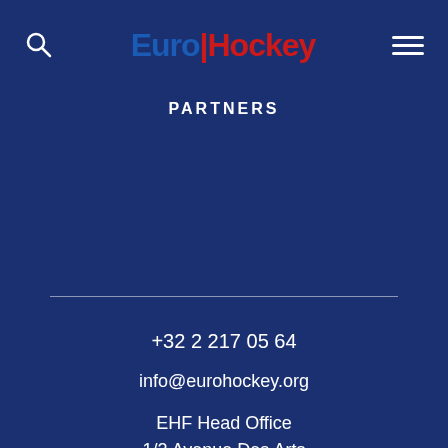[Figure (logo): EuroHockey logo with search icon on left and hamburger menu on right]
PARTNERS
+32 2 217 05 64
info@eurohockey.org
EHF Head Office
1/2 Avenue Des Arts